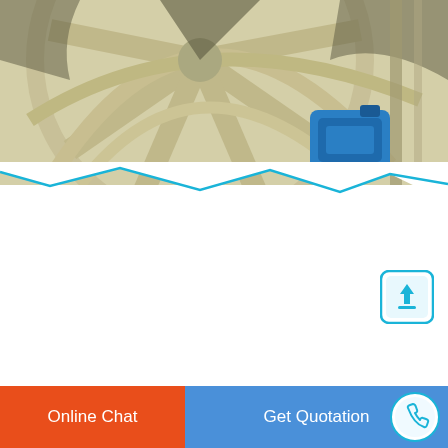[Figure (photo): Industrial machinery — large cream/beige colored wheel or fan structure with metal spokes and arches, with a blue motor component visible in the lower right]
Ms Jaikar Industry Private Limited Amritsar
Jaikar Manufacturer, Supplier and Exporter of Crusher Plant and Conveyor System such as Industrial Crusher, Magnet…
READ MORE
Online Chat   Get Quotation